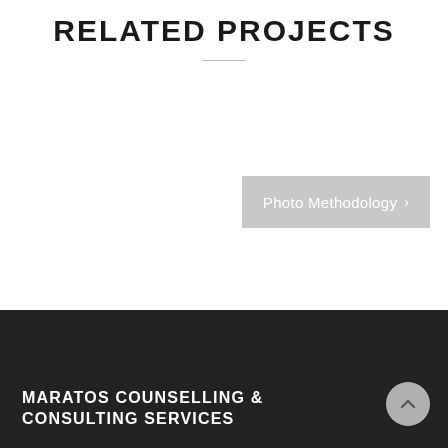RELATED PROJECTS
[Figure (other): Gray button labeled 'Photo Methodology' with a right-pointing chevron arrow]
MARATOS COUNSELLING & CONSULTING SERVICES